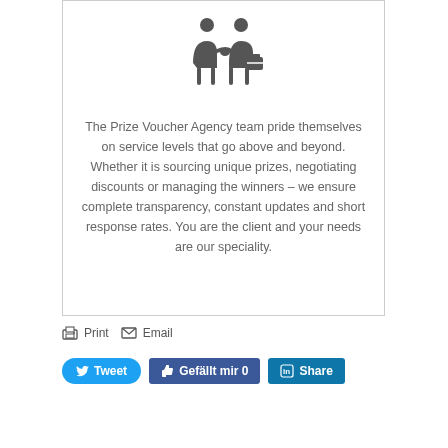[Figure (illustration): Two business people icons shaking hands, one holding a briefcase, dark gray silhouette style]
The Prize Voucher Agency team pride themselves on service levels that go above and beyond. Whether it is sourcing unique prizes, negotiating discounts or managing the winners – we ensure complete transparency, constant updates and short response rates. You are the client and your needs are our speciality.
Print  Email
Tweet  Gefällt mir 0  Share